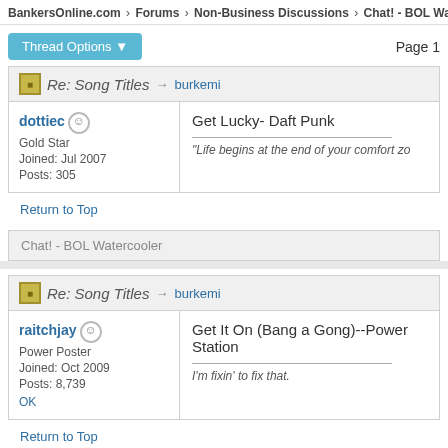BankersOnline.com › Forums › Non-Business Discussions › Chat! - BOL Watercoo
Thread Options ▼   Page 1
Re: Song Titles → burkemi
dottiec
Gold Star
Joined: Jul 2007
Posts: 305
Get Lucky- Daft Punk

"Life begins at the end of your comfort zo
Return to Top
Chat! - BOL Watercooler
Re: Song Titles → burkemi
raitchjay
Power Poster
Joined: Oct 2009
Posts: 8,739
OK
Get It On (Bang a Gong)--Power Station

I'm fixin' to fix that.
Return to Top